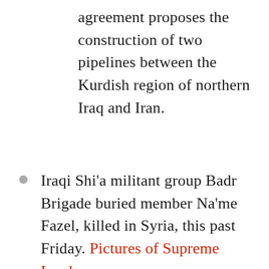agreement proposes the construction of two pipelines between the Kurdish region of northern Iraq and Iran.
Iraqi Shi'a militant group Badr Brigade buried member Na'me Fazel, killed in Syria, this past Friday. Pictures of Supreme Leader